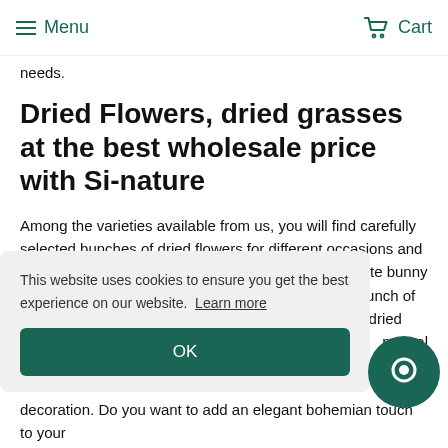Menu   Cart
needs.
Dried Flowers, dried grasses at the best wholesale price with Si-nature
Among the varieties available from us, you will find carefully selected bunches of dried flowers for different occasions and decoration ideas. These include a 100g bunch of white bunny tail, a bunch of miscanthus in natural colour, a 50g bunch of dried marcela in light pink, a bunch of about 150g of dried phalaris in natural
This website uses cookies to ensure you get the best experience on our website. Learn more
OK
decoration. Do you want to add an elegant bohemian touch to your